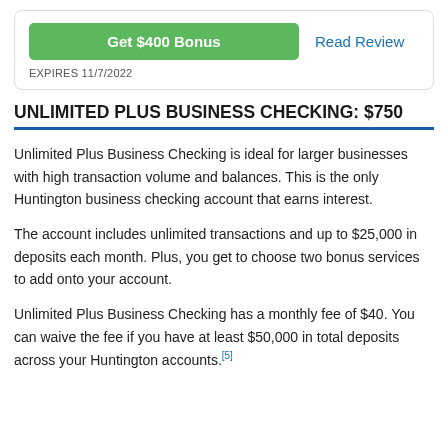[Figure (other): Green button labeled 'Get $400 Bonus' and a 'Read Review' link, with 'EXPIRES 11/7/2022' text below, inside a rounded card]
UNLIMITED PLUS BUSINESS CHECKING: $750
Unlimited Plus Business Checking is ideal for larger businesses with high transaction volume and balances. This is the only Huntington business checking account that earns interest.
The account includes unlimited transactions and up to $25,000 in deposits each month. Plus, you get to choose two bonus services to add onto your account.
Unlimited Plus Business Checking has a monthly fee of $40. You can waive the fee if you have at least $50,000 in total deposits across your Huntington accounts.[5]